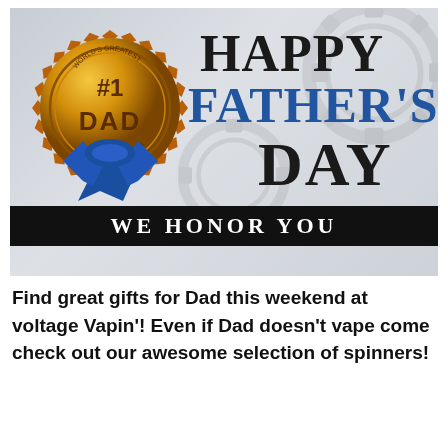[Figure (illustration): Father's Day promotional image featuring a gold #1 Dad medal/badge with blue ribbon on a grey gear-textured background, with large text reading 'HAPPY FATHER'S DAY' and a black banner saying 'WE HONOR YOU']
Find great gifts for Dad this weekend at voltage Vapin'! Even if Dad doesn't vape come check out our awesome selection of spinners!